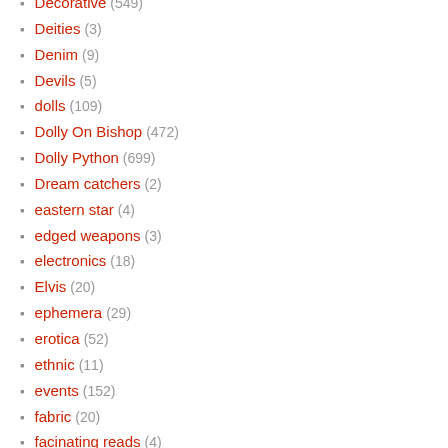Decorative (549)
Deities (3)
Denim (9)
Devils (5)
dolls (109)
Dolly On Bishop (472)
Dolly Python (699)
Dream catchers (2)
eastern star (4)
edged weapons (3)
electronics (18)
Elvis (20)
ephemera (29)
erotica (52)
ethnic (11)
events (152)
fabric (20)
facinating reads (4)
Fetish (2)
film (2)
fire arms (3)